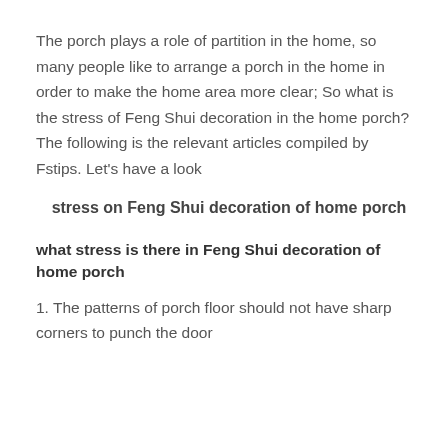The porch plays a role of partition in the home, so many people like to arrange a porch in the home in order to make the home area more clear; So what is the stress of Feng Shui decoration in the home porch? The following is the relevant articles compiled by Fstips. Let’s have a look
stress on Feng Shui decoration of home porch
what stress is there in Feng Shui decoration of home porch
1. The patterns of porch floor should not have sharp corners to punch the door